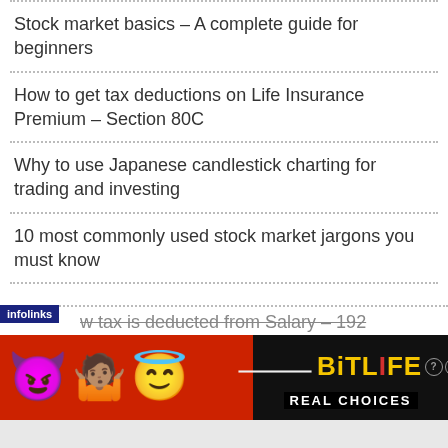Stock market basics – A complete guide for beginners
How to get tax deductions on Life Insurance Premium – Section 80C
Why to use Japanese candlestick charting for trading and investing
10 most commonly used stock market jargons you must know
w tax is deducted from Salary – 192
[Figure (screenshot): BitLife mobile game advertisement banner with emoji characters (devil, shrugging woman, angel) on red background, with 'REAL CHOICES' tagline and BitLife logo on black panel. Infolinks tag visible.]